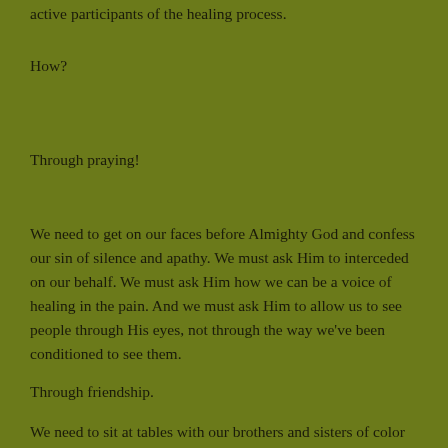active participants of the healing process.
How?
Through praying!
We need to get on our faces before Almighty God and confess our sin of silence and apathy. We must ask Him to interceded on our behalf. We must ask Him how we can be a voice of healing in the pain. And we must ask Him to allow us to see people through His eyes, not through the way we've been conditioned to see them.
Through friendship.
We need to sit at tables with our brothers and sisters of color and begin conversations and forge relationships. It